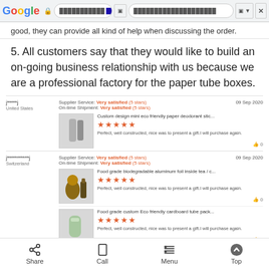Google browser bar with URL
good, they can provide all kind of help when discussing the order.
5. All customers say that they would like to build an on-going business relationship with us because we are a professional factory for the paper tube boxes.
| Reviewer | Ratings | Date | Product | Stars | Review | Likes |
| --- | --- | --- | --- | --- | --- | --- |
| j*****j, United States | Supplier Service: Very satisfied (5 stars); On-time Shipment: Very satisfied (5 stars) | 09 Sep 2020 | Custom design mini eco friendly paper deodorant stic... | ★★★★★ | Perfect, well constructed, nice was to present a gift.I will purchase again. | 0 |
| j***********j, Switzerland | Supplier Service: Very satisfied (5 stars); On-time Shipment: Very satisfied (5 stars) | 09 Sep 2020 | Food grade biodegradable aluminum foil inside tea / c... | ★★★★★ | Perfect, well constructed, nice was to present a gift.I will purchase again. | 0 |
| j***********j, Switzerland |  |  | Food grade custom Eco friendly cardboard tube pack... | ★★★★★ | Perfect, well constructed, nice was to present a gift.I will purchase again. | 0 |
Share | Call | Menu | Top